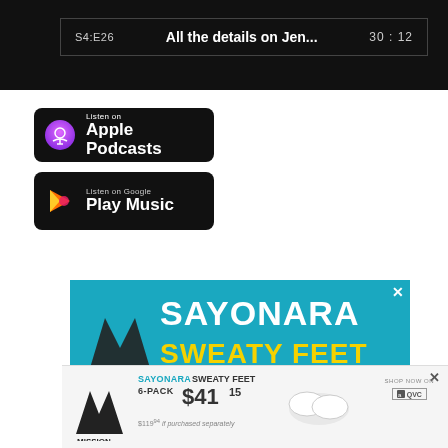[Figure (screenshot): Podcast player bar showing episode S4:E26 'All the details on Jen...' with duration 30:12 on dark background]
[Figure (logo): Listen on Apple Podcasts badge — black rounded rectangle with white podcast icon and white text]
[Figure (logo): Listen on Google Play Music badge — black rounded rectangle with Play Music triangle icon and white text]
[Figure (other): Advertisement: Mission brand 'SAYONARA SWEATY FEET' banner in blue with yellow text]
[Figure (other): Advertisement overlay: Mission brand 6-Pack $41.15, $119.94 if purchased separately, socks image, Shop Now on QVC]